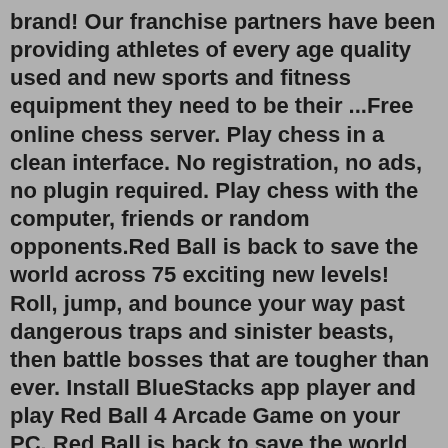brand! Our franchise partners have been providing athletes of every age quality used and new sports and fitness equipment they need to be their ...Free online chess server. Play chess in a clean interface. No registration, no ads, no plugin required. Play chess with the computer, friends or random opponents.Red Ball is back to save the world across 75 exciting new levels! Roll, jump, and bounce your way past dangerous traps and sinister beasts, then battle bosses that are tougher than ever. Install BlueStacks app player and play Red Ball 4 Arcade Game on your PC. Red Ball is back to save the world across 75 exciting new levels! Mar 26, 2018 · Red ball 4 oyunu bilgisayarda yön tuşlarıyla ve cep telefonlarıyla mobil tabletlerde ekranın alt tarafında bulunan butonlara tıklanarak oynanıyor. Yolda yere tuzaklanmış testerelere çarpmadan parkurun sonunda bulunan bitiş bayrağına ulaşın. Bu arada havada bulunan yıldızları toplayarak para ve puan kazanın. - Red Ball Forever 2 is the second part of the fun Red Ball Forever...